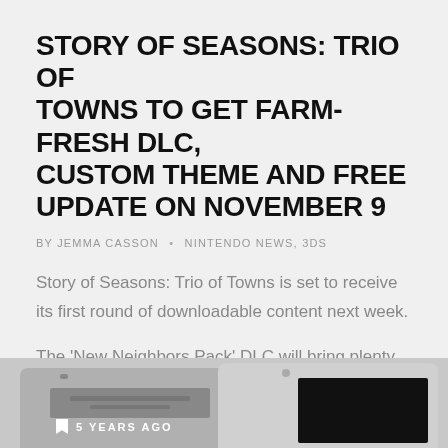STORY OF SEASONS: TRIO OF TOWNS TO GET FARM-FRESH DLC, CUSTOM THEME AND FREE UPDATE ON NOVEMBER 9
BY JEMMA CASSON • NINTENDO NEWS, 3DS
Story of Seasons: Trio of Towns is set to receive its first round of downloadable content next week.
The 'New Neighbors Pack' DLC will bring plenty of extra content to ...
READ MORE
[Figure (photo): Bottom strip showing two Nintendo 3DS devices side by side with '5 YEARS AGO' label]